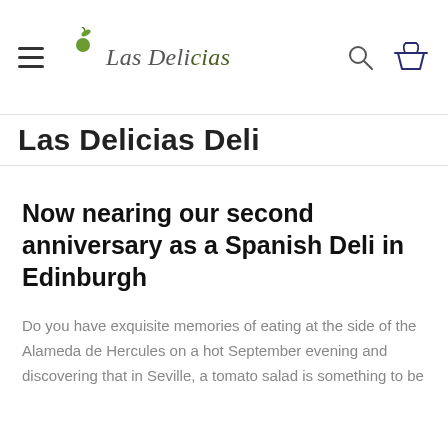Las Delicias
Las Delicias Deli
Now nearing our second anniversary as a Spanish Deli in Edinburgh
Do you have exquisite memories of eating at the side of the Alameda de Hercules on a hot September evening and discovering that in Seville, a tomato salad is something to be